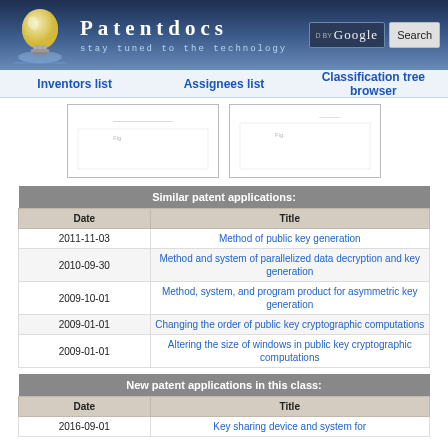[Figure (screenshot): Patentdocs website header with lightbulb logo, site title 'Patentdocs', tagline 'stay tuned to the technology', Google search box and Search button]
Inventors list | Assignees list | Classification tree browser
[Figure (other): Two patent diagram thumbnail images side by side]
| Date | Title |
| --- | --- |
| 2011-11-03 | Method of public key generation |
| 2010-09-30 | Method and system of parallelized data decryption and key generation |
| 2009-10-01 | Method, system, and program product for asymmetric key generation |
| 2009-01-01 | Changing the order of public key cryptographic computations |
| 2009-01-01 | Altering the size of windows in public key cryptographic computations |
| Date | Title |
| --- | --- |
| 2016-09-01 | Key sharing device and system for... |